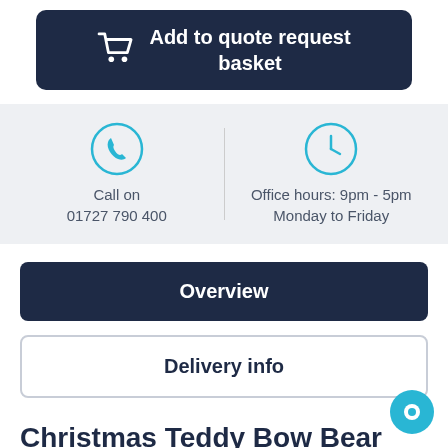[Figure (infographic): Dark navy blue button with shopping cart icon and text 'Add to quote request basket']
[Figure (infographic): Contact info panel with phone icon 'Call on 01727 790 400' and clock icon 'Office hours: 9pm - 5pm Monday to Friday' on grey background]
Overview
Delivery info
Christmas Teddy Bow Bear